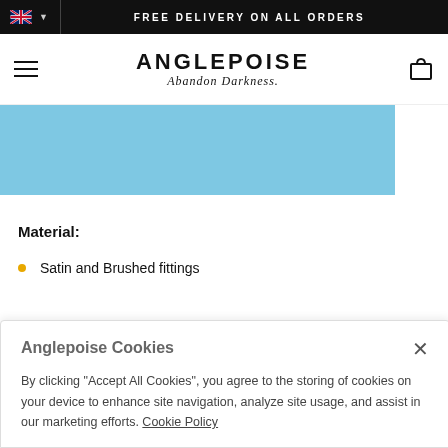FREE DELIVERY ON ALL ORDERS
[Figure (logo): Anglepoise logo with hamburger menu and cart icon. Text: ANGLEPOISE Abandon Darkness.]
[Figure (photo): Light blue hero banner strip]
Material:
Satin and Brushed fittings
Anglepoise Cookies
By clicking "Accept All Cookies", you agree to the storing of cookies on your device to enhance site navigation, analyze site usage, and assist in our marketing efforts. Cookie Policy